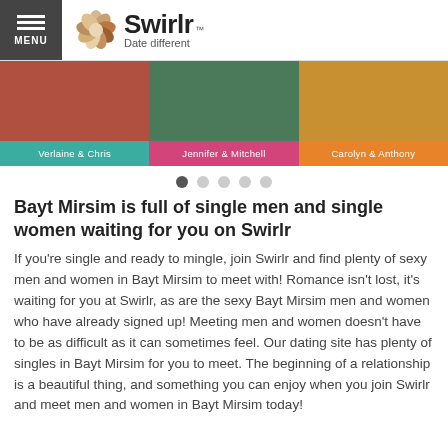[Figure (logo): Swirlr logo with flower icon and tagline 'Date different']
[Figure (photo): Three couple photo thumbnails: Verlaine & Chris (teal label), Jennifer & Mitchell (pink label), Carolyn & Anthony (orange label)]
Bayt Mirsim is full of single men and single women waiting for you on Swirlr
If you're single and ready to mingle, join Swirlr and find plenty of sexy men and women in Bayt Mirsim to meet with! Romance isn't lost, it's waiting for you at Swirlr, as are the sexy Bayt Mirsim men and women who have already signed up! Meeting men and women doesn't have to be as difficult as it can sometimes feel. Our dating site has plenty of singles in Bayt Mirsim for you to meet. The beginning of a relationship is a beautiful thing, and something you can enjoy when you join Swirlr and meet men and women in Bayt Mirsim today!